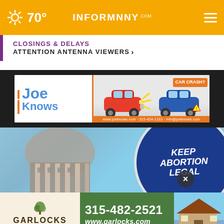70° INFORMNNY.com
CLOSINGS & DELAYS
ATTENTION ANTENNA VIEWERS ›
[Figure (photo): Joe Knows car crash advertisement banner with two cars colliding and a 'CAR CRASH?' badge]
[Figure (photo): Hero news image showing a government building dome and a 'KEEP ABORTION LEGAL' blue circular sign against a sky background]
[Figure (photo): Garlocks Hardware & Lumber advertisement showing phone number 315-482-2521 and website www.garlocks.com with a house photo]